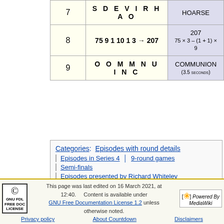| # | Clue | Answer |
| --- | --- | --- |
| 7 | S D E V I R H A O | HOARSE |
| 8 | 75 9 1 10 1 3 → 207 | 207
75 × 3 – (1 + 1) × 9 |
| 9 | O O M M N U I N C | COMMUNION
(3.5 seconds) |
Categories: Episodes with round details | Episodes in Series 4 | 9-round games | Semi-finals | Episodes presented by Richard Whiteley | Episodes with Cathy Hytner as co-presenter | Episodes with Carol Vorderman as arithmetician | Episodes with Yvonne Warburton as lexicographer | Episodes with Gyles Brandreth as a guest
This page was last edited on 16 March 2021, at 12:40. Content is available under GNU Free Documentation License 1.2 unless otherwise noted. Privacy policy About Countdown Disclaimers